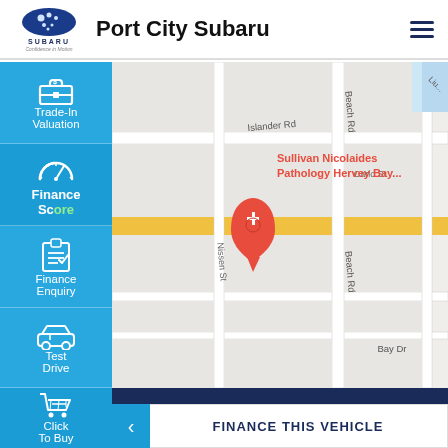Port City Subaru
[Figure (map): Google Maps view showing intersection near Nissen St and Beach Rd in Hervey Bay, with a red location pin labeled Sullivan Nicolaides Pathology Hervey Bay, a yellow highlighted road (Islander Rd), and surrounding streets including Carlo St and Bay Dr.]
Trade-In Valuation
Finance Score
Finance Enquiry
Test Drive
Click To Buy
CONTACT US
FINANCE THIS VEHICLE